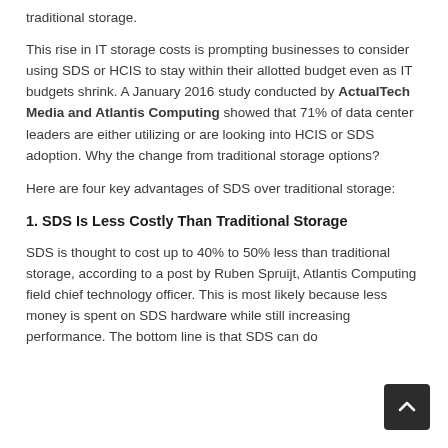traditional storage.
This rise in IT storage costs is prompting businesses to consider using SDS or HCIS to stay within their allotted budget even as IT budgets shrink. A January 2016 study conducted by ActualTech Media and Atlantis Computing showed that 71% of data center leaders are either utilizing or are looking into HCIS or SDS adoption. Why the change from traditional storage options?
Here are four key advantages of SDS over traditional storage:
1. SDS Is Less Costly Than Traditional Storage
SDS is thought to cost up to 40% to 50% less than traditional storage, according to a post by Ruben Spruijt, Atlantis Computing field chief technology officer. This is most likely because less money is spent on SDS hardware while still increasing performance. The bottom line is that SDS can do